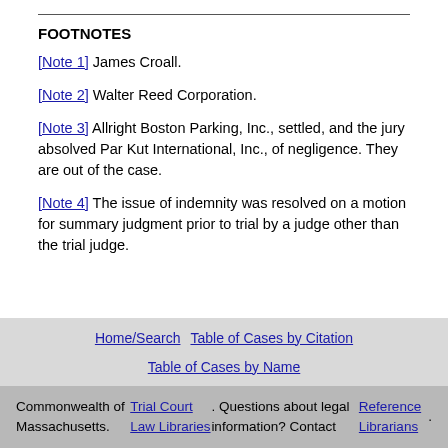FOOTNOTES
[Note 1] James Croall.
[Note 2] Walter Reed Corporation.
[Note 3] Allright Boston Parking, Inc., settled, and the jury absolved Par Kut International, Inc., of negligence. They are out of the case.
[Note 4] The issue of indemnity was resolved on a motion for summary judgment prior to trial by a judge other than the trial judge.
Home/Search  Table of Cases by Citation  Table of Cases by Name
Commonwealth of Massachusetts. Trial Court Law Libraries. Questions about legal information? Contact Reference Librarians.